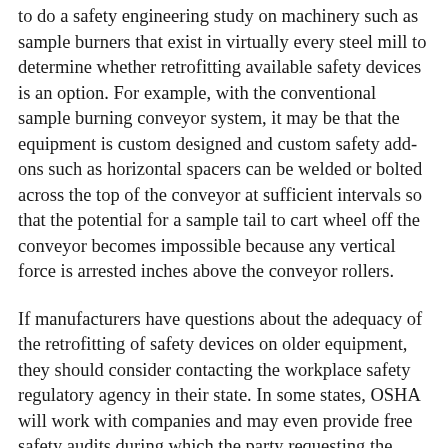to do a safety engineering study on machinery such as sample burners that exist in virtually every steel mill to determine whether retrofitting available safety devices is an option.  For example, with the conventional sample burning conveyor system, it may be that the equipment is custom designed and custom safety add-ons such as horizontal spacers can be welded or bolted across the top of the conveyor at sufficient intervals so that the potential for a sample tail to cart wheel off the conveyor becomes impossible because any vertical force is arrested inches above the conveyor rollers.
If manufacturers have questions about the adequacy of the retrofitting of safety devices on older equipment, they should consider contacting the workplace safety regulatory agency in their state.  In some states, OSHA will work with companies and may even provide free safety audits during which the party requesting the audit is granted a period of immunity to correct safety violations that are discovered.  Manufacturers should check with their state safety agency to determine...